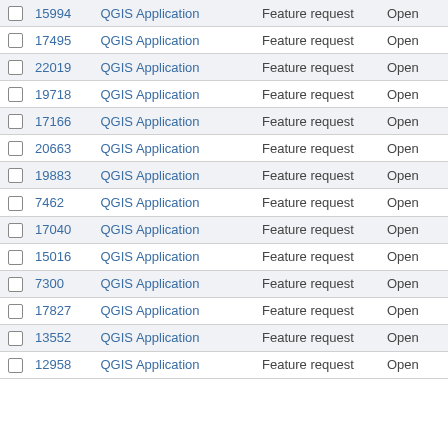|  | ID | Application | Type | Status |
| --- | --- | --- | --- | --- |
| ☐ | 15994 | QGIS Application | Feature request | Open |
| ☐ | 17495 | QGIS Application | Feature request | Open |
| ☐ | 22019 | QGIS Application | Feature request | Open |
| ☐ | 19718 | QGIS Application | Feature request | Open |
| ☐ | 17166 | QGIS Application | Feature request | Open |
| ☐ | 20663 | QGIS Application | Feature request | Open |
| ☐ | 19883 | QGIS Application | Feature request | Open |
| ☐ | 7462 | QGIS Application | Feature request | Open |
| ☐ | 17040 | QGIS Application | Feature request | Open |
| ☐ | 15016 | QGIS Application | Feature request | Open |
| ☐ | 7300 | QGIS Application | Feature request | Open |
| ☐ | 17827 | QGIS Application | Feature request | Open |
| ☐ | 13552 | QGIS Application | Feature request | Open |
| ☐ | 12958 | QGIS Application | Feature request | Open |